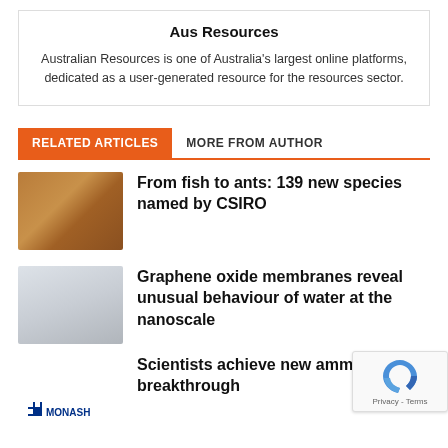Aus Resources
Australian Resources is one of Australia's largest online platforms, dedicated as a user-generated resource for the resources sector.
RELATED ARTICLES   MORE FROM AUTHOR
[Figure (photo): Close-up photo of a reptile or small creature on rocky/sandy ground]
From fish to ants: 139 new species named by CSIRO
[Figure (photo): Scientists or researchers in white lab coats]
Graphene oxide membranes reveal unusual behaviour of water at the nanoscale
[Figure (logo): Monash University logo]
Scientists achieve new ammonia breakthrough